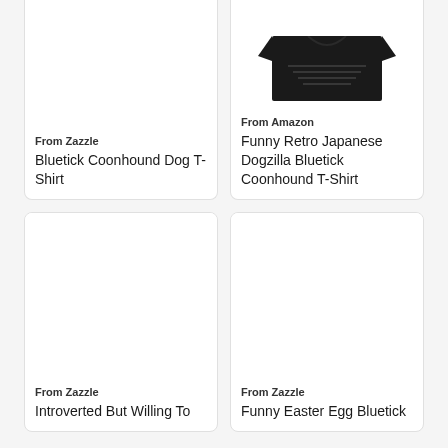[Figure (photo): Product image area for Bluetick Coonhound Dog T-Shirt from Zazzle (mostly white/empty, cropped at top)]
From Zazzle
Bluetick Coonhound Dog T-Shirt
[Figure (photo): Product image for Funny Retro Japanese Dogzilla Bluetick Coonhound T-Shirt from Amazon (dark t-shirt visible at top, cropped)]
From Amazon
Funny Retro Japanese Dogzilla Bluetick Coonhound T-Shirt
[Figure (photo): Product image area for Introverted But Willing To Discuss... from Zazzle (white/empty)]
From Zazzle
Introverted But Willing To
[Figure (photo): Product image area for Funny Easter Egg Bluetick from Zazzle (white/empty)]
From Zazzle
Funny Easter Egg Bluetick